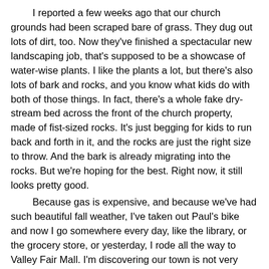I reported a few weeks ago that our church grounds had been scraped bare of grass. They dug out lots of dirt, too. Now they've finished a spectacular new landscaping job, that's supposed to be a showcase of water-wise plants. I like the plants a lot, but there's also lots of bark and rocks, and you know what kids do with both of those things. In fact, there's a whole fake dry-stream bed across the front of the church property, made of fist-sized rocks. It's just begging for kids to run back and forth in it, and the rocks are just the right size to throw. And the bark is already migrating into the rocks. But we're hoping for the best. Right now, it still looks pretty good.
Because gas is expensive, and because we've had such beautiful fall weather, I've taken out Paul's bike and now I go somewhere every day, like the library, or the grocery store, or yesterday, I rode all the way to Valley Fair Mall. I'm discovering our town is not very bike friendly. There wasn't a single place at the mall where I could chain up the bike! The library has a bike rack, but it's broken. And hardly any streets have bike lanes. On 41st South, I ride on the sidewalk, when I have to go that way. Usually I look at Google Earth and plan out my route so I'm going through neighborhoods. It's